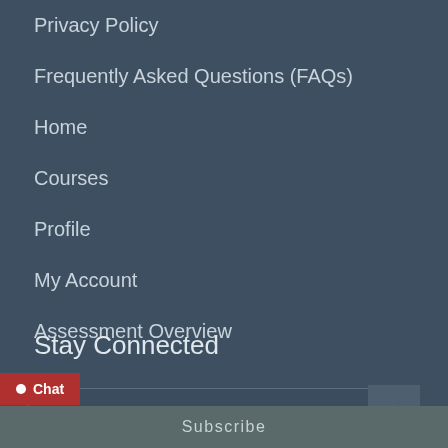Privacy Policy
Frequently Asked Questions (FAQs)
Home
Courses
Profile
My Account
Assessment Overview
Stay Connected
Email
Subscribe
Chat